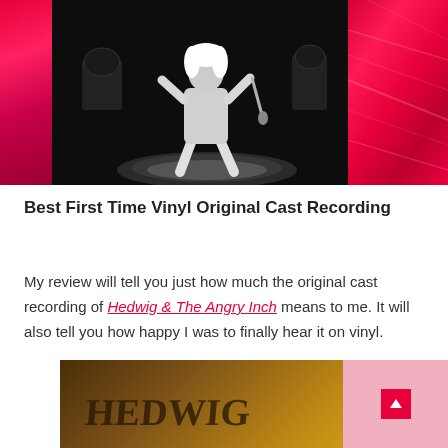[Figure (photo): Composite image with three panels: left panel is a hot pink/red vinyl record close-up, center panel is a black and white photo of a performer on stage singing into a microphone wearing a short outfit, right panel is a close-up of red vinyl record grooves.]
Best First Time Vinyl Original Cast Recording
My review will tell you just how much the original cast recording of Hedwig & The Angry Inch means to me. It will also tell you how happy I was to finally hear it on vinyl.
[Figure (photo): Partial view of a vinyl record album cover with warm golden/brown tones, partially overlapped by a pink panel with a scroll-up arrow button.]